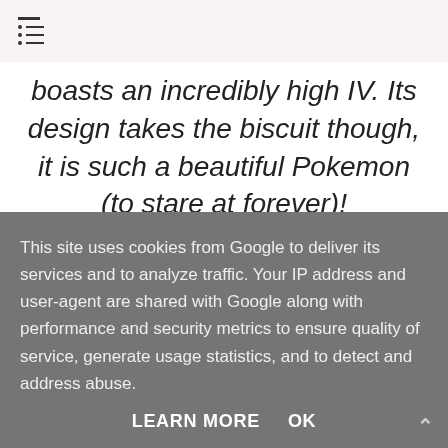[navigation menu icon]
boasts an incredibly high IV. Its design takes the biscuit though, it is such a beautiful Pokemon (to stare at forever)!
11. Gigalith
This site uses cookies from Google to deliver its services and to analyze traffic. Your IP address and user-agent are shared with Google along with performance and security metrics to ensure quality of service, generate usage statistics, and to detect and address abuse.
LEARN MORE   OK